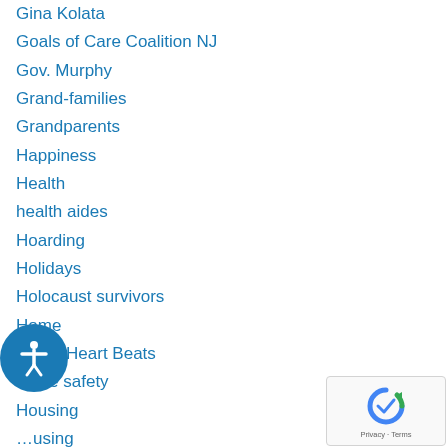Gina Kolata
Goals of Care Coalition NJ
Gov. Murphy
Grand-families
Grandparents
Happiness
Health
health aides
Hoarding
Holidays
Holocaust survivors
Home
Home Heart Beats
home safety
Housing
…using
Inc.
independent living